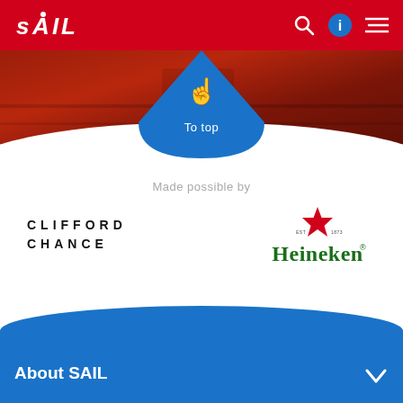SAIL
[Figure (screenshot): Red/brown image band showing part of a large ship hull]
[Figure (infographic): Blue triangular 'To top' button with finger/touch icon and text 'To top']
Made possible by
[Figure (logo): Clifford Chance law firm logo in black spaced uppercase letters]
[Figure (logo): Heineken logo with red star and green serif text 'Heineken']
About SAIL